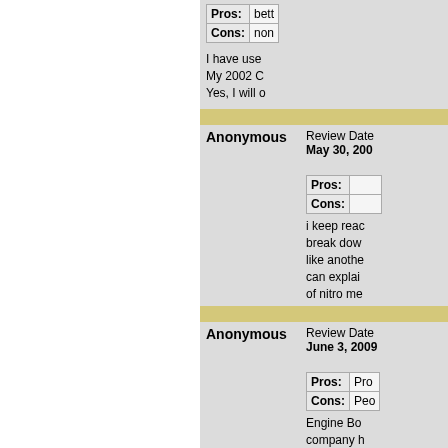Pros: bett
Cons: non
I have use My 2002 C Yes, I will o
Anonymous
Review Date May 30, 200
Pros:
Cons:
i keep reac break dow like anothe can explai of nitro me
Anonymous
Review Date June 3, 2009
Pros: Pro
Cons: Peo
Engine Bo company h satisfied. A